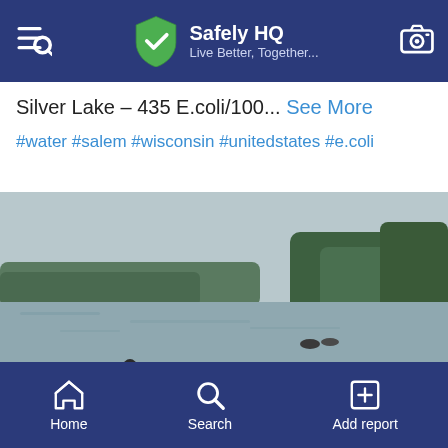Safely HQ – Live Better, Together...
Silver Lake – 435 E.coli/100... See More
#water #salem #wisconsin #unitedstates #e.coli
[Figure (photo): Photo of Silver Lake with Canada geese on the shore and water, trees in the background, overcast sky. A green shield checkmark badge appears in the lower right corner of the photo.]
Home  Search  Add report